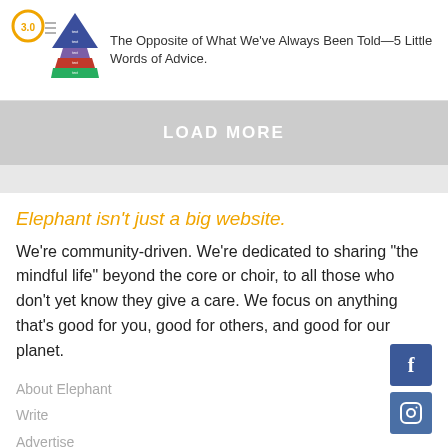[Figure (illustration): A thumbnail showing a 3.0 orange circular logo and a pyramid infographic with colored layers]
The Opposite of What We've Always Been Told—5 Little Words of Advice.
LOAD MORE
Elephant isn't just a big website.
We're community-driven. We're dedicated to sharing "the mindful life" beyond the core or choir, to all those who don't yet know they give a care. We focus on anything that's good for you, good for others, and good for our planet.
About Elephant
Write
Advertise